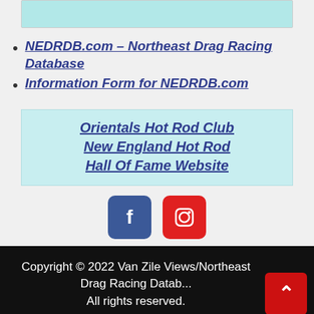[Figure (screenshot): Partial top image with teal/cyan background, partially visible]
NEDRDB.com – Northeast Drag Racing Database
Information Form for NEDRDB.com
Orientals Hot Rod Club
New England Hot Rod Hall Of Fame Website
[Figure (logo): Facebook icon button (blue rounded square)]
[Figure (logo): Instagram icon button (red rounded square)]
Copyright © 2022 Van Zile Views/Northeast Drag Racing Database. All rights reserved.